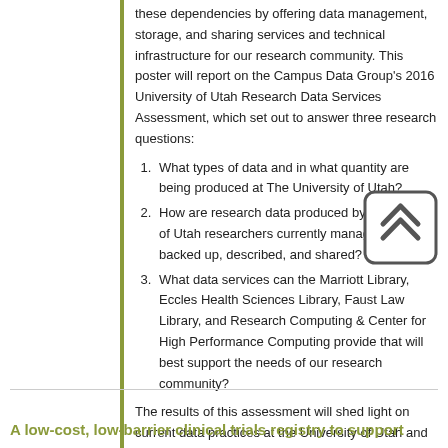these dependencies by offering data management, storage, and sharing services and technical infrastructure for our research community. This poster will report on the Campus Data Group's 2016 University of Utah Research Data Services Assessment, which set out to answer three research questions:
What types of data and in what quantity are being produced at The University of Utah?
How are research data produced by University of Utah researchers currently managed, stored, backed up, described, and shared?
What data services can the Marriott Library, Eccles Health Sciences Library, Faust Law Library, and Research Computing & Center for High Performance Computing provide that will best support the needs of our research community?
The results of this assessment will shed light on current data practices at the University of Utah and inform the creation of new services and infrastructure to increase research transparency and replicability.
[Figure (illustration): A scroll-up / double-chevron icon inside a rounded rectangle box]
A low-cost, low-barrier clinical trials registry to support